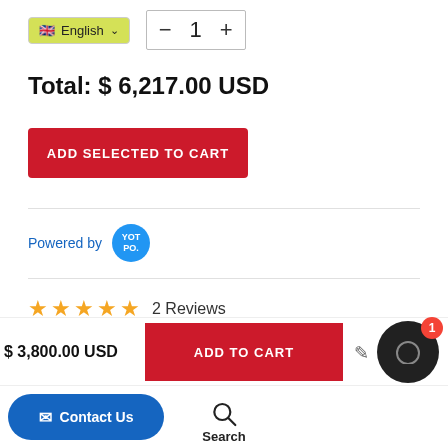[Figure (screenshot): Language selector dropdown showing English with UK flag, and quantity selector showing 1 with minus and plus buttons]
Total: $ 6,217.00 USD
[Figure (other): Red ADD SELECTED TO CART button]
Powered by YOT PO.
2 Reviews
$ 3,800.00 USD
[Figure (other): Red ADD TO CART button]
[Figure (other): Chat support circle button with badge showing 1]
[Figure (other): Blue Contact Us button and Search navigation button]